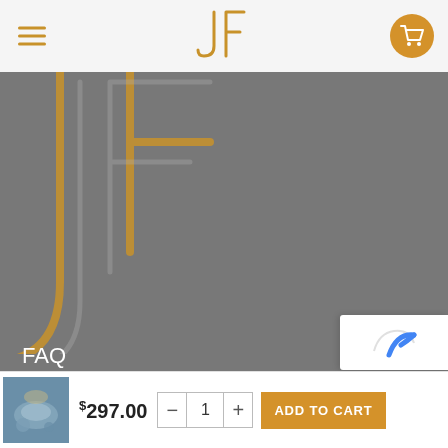[Figure (logo): JF stylized logo in golden/amber color in the top header bar]
[Figure (logo): Large JF logo watermark in golden outline on gray hero background]
My Story
Shop
Contact us
FAQ
$297.00
ADD TO CART